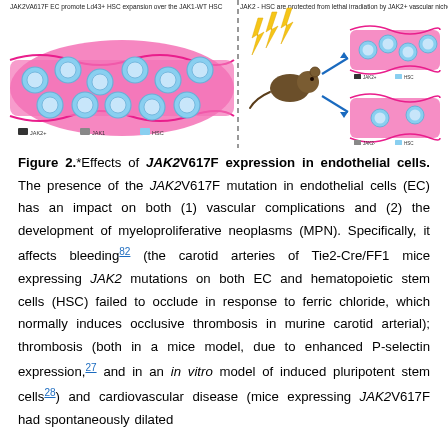[Figure (illustration): Scientific illustration showing two panels. Left panel: JAK2V617F EC promote Ld43+ HSC expansion over the JAK1-WT HSC, depicting many blue-circled cells (HSCs) on a pink vascular background. Right panel: JAK2- HSC are protected from lethal irradiation by JAK2+ vascular niche EC, showing a mouse being irradiated (lightning bolts) leading to two outcomes: one vessel with many HSCs and one with few HSCs, connected by a blue arrow.]
Figure 2.*Effects of JAK2V617F expression in endothelial cells. The presence of the JAK2V617F mutation in endothelial cells (EC) has an impact on both (1) vascular complications and (2) the development of myeloproliferative neoplasms (MPN). Specifically, it affects bleeding82 (the carotid arteries of Tie2-Cre/FF1 mice expressing JAK2 mutations on both EC and hematopoietic stem cells (HSC) failed to occlude in response to ferric chloride, which normally induces occlusive thrombosis in murine carotid arterial); thrombosis (both in a mice model, due to enhanced P-selectin expression,27 and in an in vitro model of induced pluripotent stem cells28) and cardiovascular disease (mice expressing JAK2V617F had spontaneously dilated